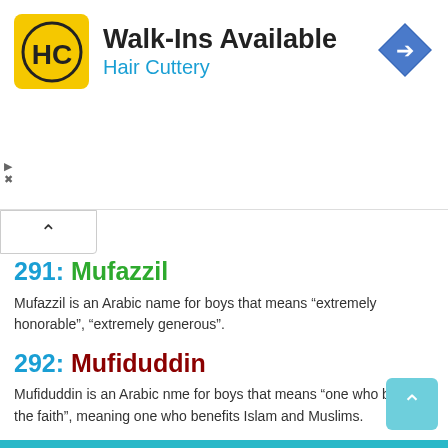[Figure (logo): Hair Cuttery advertisement banner with HC logo, Walk-Ins Available text, and navigation arrow icon]
291: Mufazzil
Mufazzil is an Arabic name for boys that means “extremely honorable”, “extremely generous”.
292: Mufiduddin
Mufiduddin is an Arabic nme for boys that means “one who benefits the faith”, meaning one who benefits Islam and Muslims.
293: Mufizuddin
Mufizuddin is an Arabic name for boys that means “one who does much good for the faith”, a person who does good deeds toward Islam and Muslims.